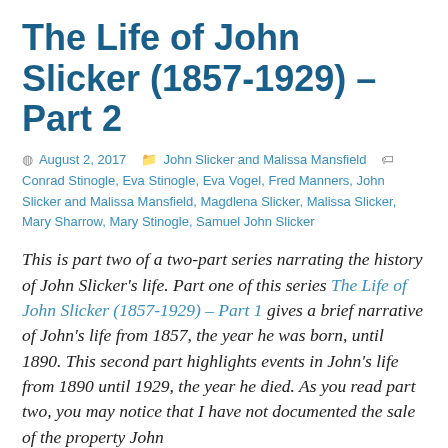The Life of John Slicker (1857-1929) – Part 2
August 2, 2017   John Slicker and Malissa Mansfield   Conrad Stinogle, Eva Stinogle, Eva Vogel, Fred Manners, John Slicker and Malissa Mansfield, Magdlena Slicker, Malissa Slicker, Mary Sharrow, Mary Stinogle, Samuel John Slicker
This is part two of a two-part series narrating the history of John Slicker's life. Part one of this series The Life of John Slicker (1857-1929) – Part 1 gives a brief narrative of John's life from 1857, the year he was born, until 1890. This second part highlights events in John's life from 1890 until 1929, the year he died. As you read part two, you may notice that I have not documented the sale of the property John